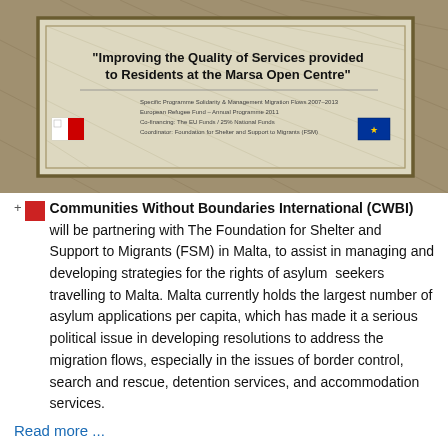[Figure (photo): A sign board reading 'Improving the Quality of Services provided to Residents at the Marsa Open Centre' with Malta and EU flags, mounted on a wall with a geometric patterned background.]
Communities Without Boundaries International (CWBI) will be partnering with The Foundation for Shelter and Support to Migrants (FSM) in Malta, to assist in managing and developing strategies for the rights of asylum seekers travelling to Malta. Malta currently holds the largest number of asylum applications per capita, which has made it a serious political issue in developing resolutions to address the migration flows, especially in the issues of border control, search and rescue, detention services, and accommodation services.
Read more ...
NEETU POKHAREL (NEPAL) YWB MEMBER